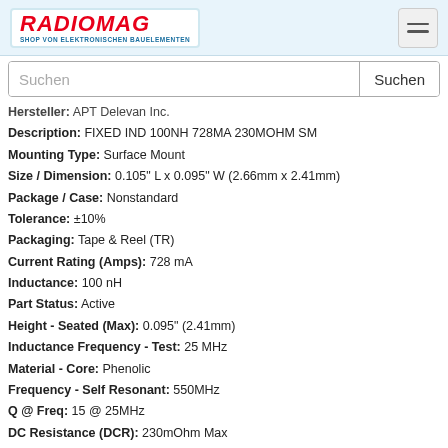RADIOMAG - SHOP VON ELEKTRONISCHEN BAUELEMENTEN
Suchen
Hersteller: APT Delevan Inc.
Description: FIXED IND 100NH 728MA 230MOHM SM
Mounting Type: Surface Mount
Size / Dimension: 0.105" L x 0.095" W (2.66mm x 2.41mm)
Package / Case: Nonstandard
Tolerance: ±10%
Packaging: Tape & Reel (TR)
Current Rating (Amps): 728 mA
Inductance: 100 nH
Part Status: Active
Height - Seated (Max): 0.095" (2.41mm)
Inductance Frequency - Test: 25 MHz
Material - Core: Phenolic
Frequency - Self Resonant: 550MHz
Q @ Freq: 15 @ 25MHz
DC Resistance (DCR): 230mOhm Max
Operating Temperature: -55°C ~ 125°C
Shielding: Unshielded
auf Bestellung 500 Stücke
Lieferzeit 21-28 Tag (e)
auf Bestellung 882 Stücke - Preis und Lieferfrist anzeigen